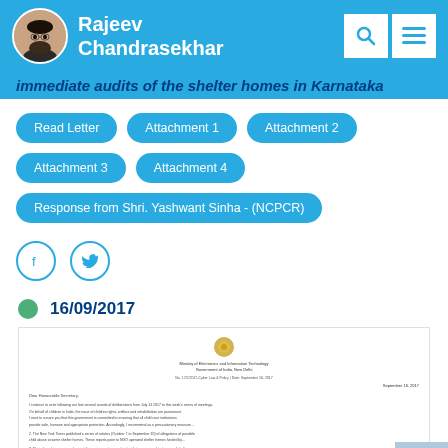Rajeev Chandrasekhar
immediate audits of the shelter homes in Karnataka
Read Letter | Attachment 1 | Attachment 2 | Attachment 3 | Attachment 4 | Response from Shri. Yashwant Sinha - (NCPCR)
16/09/2017
[Figure (photo): Preview image of a government letter with emblem at top, dated September 2017]